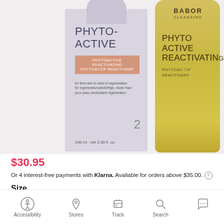[Figure (photo): Two Babor Phyto Active Reactivating products side by side: a lavender/purple box on the left and a yellow bottle on the right. The box shows PHYTO-ACTIVE text, a salmon-colored badge, product description, number 2, and volume 100ml net 3.38 fl.oz. The bottle shows BABOR CLEANSING branding and PHYTO ACTIVE REACTIVATING text.]
$30.95
Or 4 interest-free payments with Klarna. Available for orders above $35.00. ?
Size
Accessibility  Stores  Track  Search